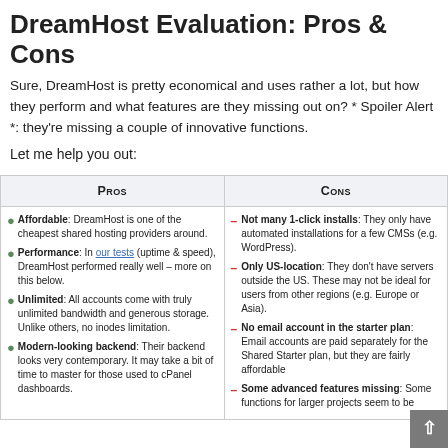DreamHost Evaluation: Pros & Cons
Sure, DreamHost is pretty economical and uses rather a lot, but how they perform and what features are they missing out on? * Spoiler Alert *: they’re missing a couple of innovative functions.
Let me help you out:
| Pros | Cons |
| --- | --- |
| • Affordable: DreamHost is one of the cheapest shared hosting providers around.
• Performance: In our tests (uptime & speed), DreamHost performed really well – more on this below.
• Unlimited: All accounts come with truly unlimited bandwidth and generous storage. Unlike others, no inodes limitation.
• Modern-looking backend: Their backend looks very contemporary. It may take a bit of time to master for those used to cPanel dashboards. | – Not many 1-click installs: They only have automated installations for a few CMSs (e.g. WordPress).
– Only US-location: They don't have servers outside the US. These may not be ideal for users from other regions (e.g. Europe or Asia).
– No email account in the starter plan: Email accounts are paid separately for the Shared Starter plan, but they are fairly affordable.
– Some advanced features missing: Some functions for larger projects seem to be |